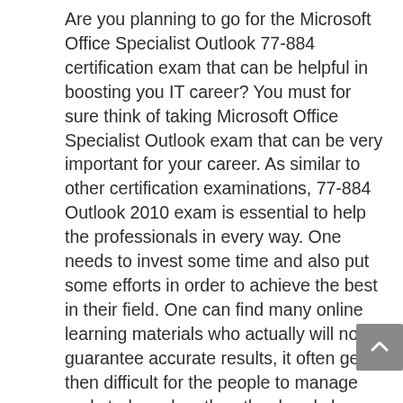Are you planning to go for the Microsoft Office Specialist Outlook 77-884 certification exam that can be helpful in boosting you IT career? You must for sure think of taking Microsoft Office Specialist Outlook exam that can be very important for your career. As similar to other certification examinations, 77-884 Outlook 2010 exam is essential to help the professionals in every way. One needs to invest some time and also put some efforts in order to achieve the best in their field. One can find many online learning materials who actually will not guarantee accurate results, it often gets then difficult for the people to manage and study and on the other hand clear the 77-884 Outlook 2010 exam. But now there is nothing to worry about, 77-884 exam can be easily prepared with the help of QualityDumps who had prepared its best learning Microsoft 77-884